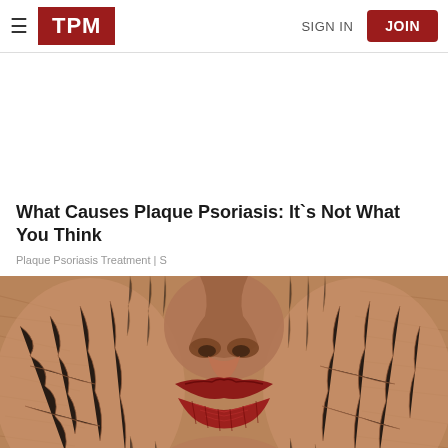TPM | SIGN IN | JOIN
What Causes Plaque Psoriasis: It`s Not What You Think
Plaque Psoriasis Treatment | S
[Figure (photo): Close-up photo of a person's face showing severely dry, cracked, textured skin with red lips visible, representing plaque psoriasis symptoms]